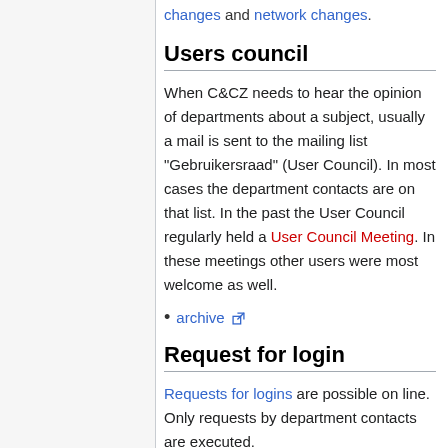changes and network changes.
Users council
When C&CZ needs to hear the opinion of departments about a subject, usually a mail is sent to the mailing list "Gebruikersraad" (User Council). In most cases the department contacts are on that list. In the past the User Council regularly held a User Council Meeting. In these meetings other users were most welcome as well.
archive
Request for login
Requests for logins are possible on line. Only requests by department contacts are executed.
Network changes